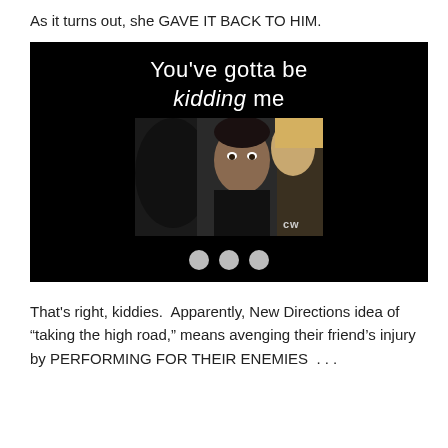As it turns out, she GAVE IT BACK TO HIM.
[Figure (screenshot): A dark/black background meme image with white text reading 'You've gotta be kidding me' above a TV screenshot showing a dark-haired male actor looking surprised, with the CW network logo visible, and three gray dots below the photo.]
That's right, kiddies.  Apparently, New Directions idea of “taking the high road,” means avenging their friend’s injury by PERFORMING FOR THEIR ENEMIES  . . .